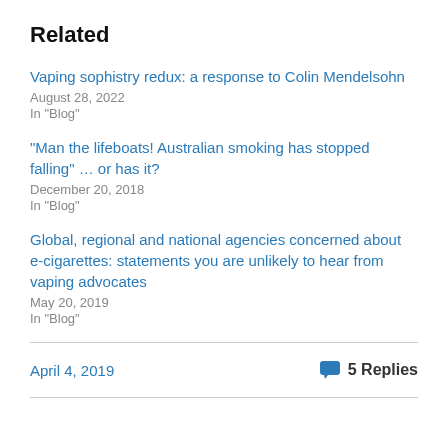Related
Vaping sophistry redux: a response to Colin Mendelsohn
August 28, 2022
In "Blog"
“Man the lifeboats! Australian smoking has stopped falling” … or has it?
December 20, 2018
In "Blog"
Global, regional and national agencies concerned about e-cigarettes: statements you are unlikely to hear from vaping advocates
May 20, 2019
In "Blog"
April 4, 2019
5 Replies